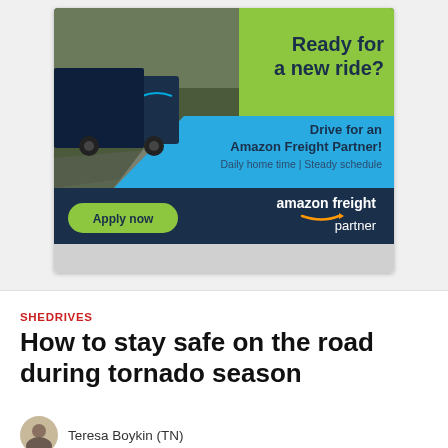[Figure (illustration): Amazon Freight Partner advertisement banner showing a dark blue semi-truck on a highway. Green top-right section with 'Ready for a new ride?' text, blue diagonal section with 'Drive for an Amazon Freight Partner! Daily home time | Steady schedule', dark navy bottom bar with 'Apply now' green button and 'amazon freight partner' logo.]
SHEDRIVES
How to stay safe on the road during tornado season
Teresa Boykin (TN)